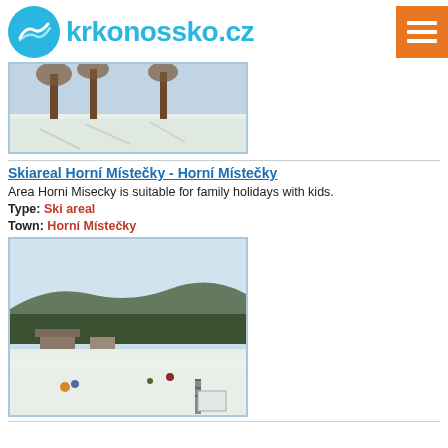krkonossko.cz
[Figure (photo): Snowy winter landscape with trees casting shadows on snow]
Skiareal Horní Místečky - Horní Místečky
Area Horni Misecky is suitable for family holidays with kids.
Type: Ski areal
Town: Horní Místečky
[Figure (photo): Ski resort area with snow, people sledding, buildings and forested hills in background]